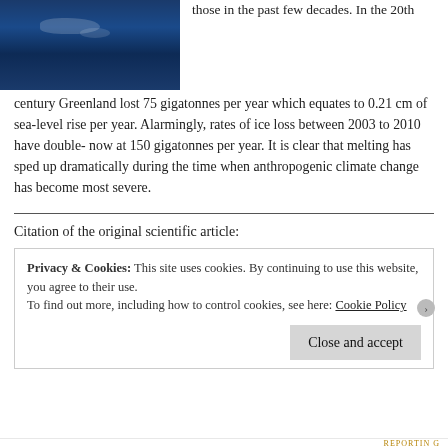[Figure (photo): Aerial photograph of Greenland ice/ocean from above, showing dark blue water with white ice formations.]
those in the past few decades. In the 20th century Greenland lost 75 gigatonnes per year which equates to 0.21 cm of sea-level rise per year. Alarmingly, rates of ice loss between 2003 to 2010 have double- now at 150 gigatonnes per year. It is clear that melting has sped up dramatically during the time when anthropogenic climate change has become most severe.
Citation of the original scientific article:
Privacy & Cookies: This site uses cookies. By continuing to use this website, you agree to their use.
To find out more, including how to control cookies, see here: Cookie Policy